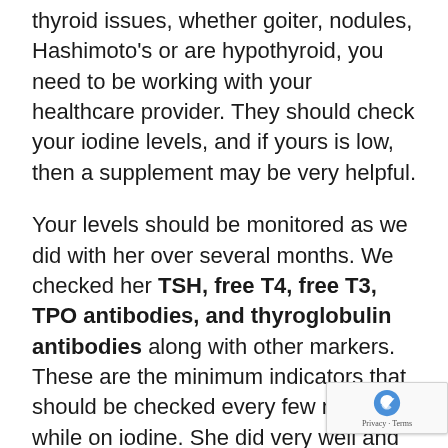thyroid issues, whether goiter, nodules, Hashimoto's or are hypothyroid, you need to be working with your healthcare provider. They should check your iodine levels, and if yours is low, then a supplement may be very helpful.
Your levels should be monitored as we did with her over several months. We checked her TSH, free T4, free T3, TPO antibodies, and thyroglobulin antibodies along with other markers. These are the minimum indicators that should be checked every few months while on iodine. She did very well and all these numbers (TSH, low T4, low T3) improved. elevated thyroglobulin antibodies also ret to normal